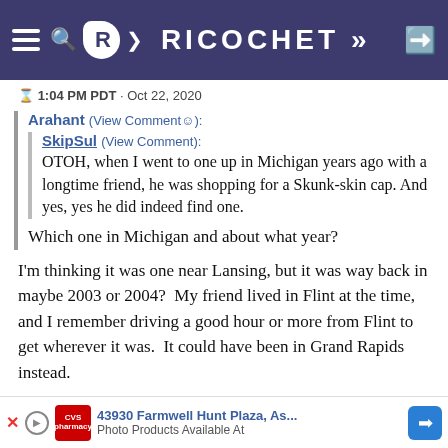RICOCHET
1:04 PM PDT · Oct 22, 2020
Arahant (View Comment☺):
SkipSul (View Comment):
OTOH, when I went to one up in Michigan years ago with a longtime friend, he was shopping for a Skunk-skin cap. And yes, yes he did indeed find one.
Which one in Michigan and about what year?
I'm thinking it was one near Lansing, but it was way back in maybe 2003 or 2004?  My friend lived in Flint at the time, and I remember driving a good hour or more from Flint to get wherever it was.  It could have been in Grand Rapids instead.
43930 Farmwell Hunt Plaza, As...
Photo Products Available At